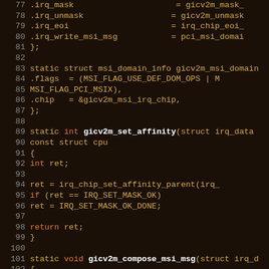[Figure (screenshot): Source code editor screenshot showing C code for Linux kernel GICv2m MSI interrupt controller driver. Dark background with syntax highlighting. Line numbers 77-107 visible. Code includes struct irq_chip with irq_unmask, irq_eoi, irq_write_msi_msg fields, msi_domain_info struct, gicv2m_set_affinity function, and gicv2m_compose_msi_msg function.]